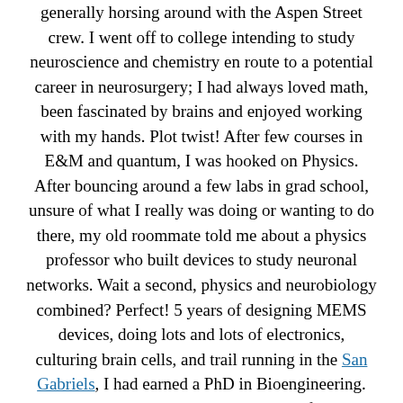generally horsing around with the Aspen Street crew. I went off to college intending to study neuroscience and chemistry en route to a potential career in neurosurgery; I had always loved math, been fascinated by brains and enjoyed working with my hands. Plot twist! After few courses in E&M and quantum, I was hooked on Physics. After bouncing around a few labs in grad school, unsure of what I really was doing or wanting to do there, my old roommate told me about a physics professor who built devices to study neuronal networks. Wait a second, physics and neurobiology combined? Perfect! 5 years of designing MEMS devices, doing lots and lots of electronics, culturing brain cells, and trail running in the San Gabriels, I had earned a PhD in Bioengineering. Funny how academic interests can come full circle. As a postdoc I continued to study brains–but this time around, the "second brain" aka the gastrointestinal system. My  research focused on